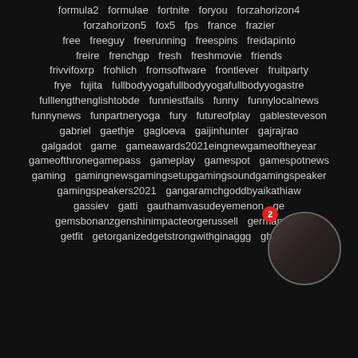formula2 formulae fortnite foryou forzahorizon4 forzahorizon5 fox5 fps france frazier free freeguy freerunning freespins freidapinto freire frenchgp fresh freshmovie friends frivvifoxrp frohlich fromsoftware frontlever fruitparty frye fujita fullbodyyogafullbodyyogafullbodyyogastre fulllengthenglishtobde funniestfails funny funnylocalnews funnynews funpartneryoga fury futureofplay gablesteveson gabriel gaethje gagloeva gaijinhunter gajrajrao galgadot game gameawards2021eingnewgameoftheyear gameofthronegamepass gameplay gamespot gamespotnews gaming gamingnewsgamingsetupgamingsoundgamingspeaker gamingspeakers2021 gangaramchgoddbyaikathiaw gassiev gatti gauthamvasudeyemenon ge gemsbonanzgenshinimpacteorgerussell germany g getfit getorganizedgetstrongwithginaggg ghostbo
[Figure (photo): A circular avatar/profile image showing a person, with a red notification badge showing '2' in the upper left of the circle]